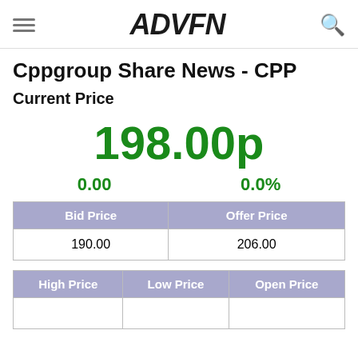ADVFN
Cppgroup Share News - CPP
Current Price
198.00p
0.00   0.0%
| Bid Price | Offer Price |
| --- | --- |
| 190.00 | 206.00 |
| High Price | Low Price | Open Price |
| --- | --- | --- |
|  |  |  |